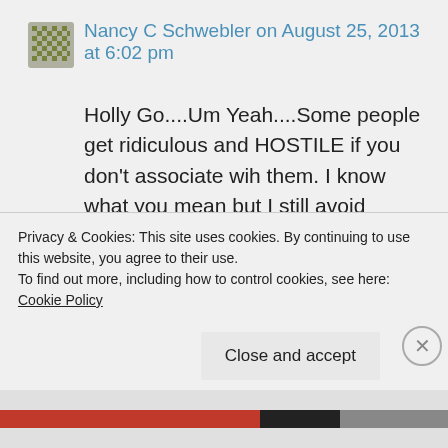[Figure (other): User avatar icon — pixelated grid pattern in olive/gold colors]
Nancy C Schwebler on August 25, 2013 at 6:02 pm
Holly Go....Um Yeah....Some people get ridiculous and HOSTILE if you don't associate wih them. I know what you mean but I still avoid pushy,and overbearing people and
Privacy & Cookies: This site uses cookies. By continuing to use this website, you agree to their use.
To find out more, including how to control cookies, see here: Cookie Policy
Close and accept